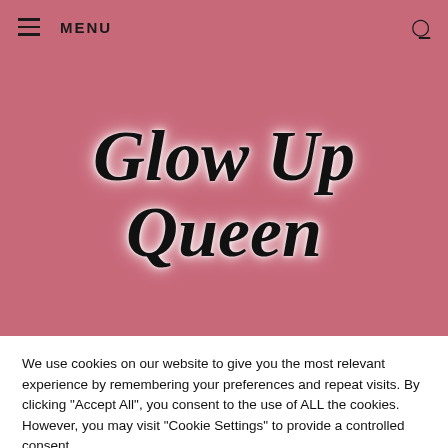MENU
Glow Up Queen
We use cookies on our website to give you the most relevant experience by remembering your preferences and repeat visits. By clicking "Accept All", you consent to the use of ALL the cookies. However, you may visit "Cookie Settings" to provide a controlled consent.
Cookie Settings | Accept All